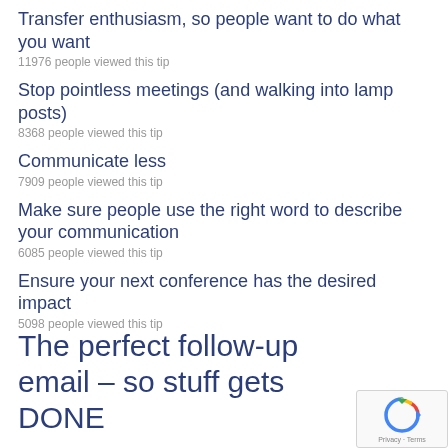Transfer enthusiasm, so people want to do what you want
11976 people viewed this tip
Stop pointless meetings (and walking into lamp posts)
8368 people viewed this tip
Communicate less
7909 people viewed this tip
Make sure people use the right word to describe your communication
6085 people viewed this tip
Ensure your next conference has the desired impact
5098 people viewed this tip
The perfect follow-up email – so stuff gets DONE